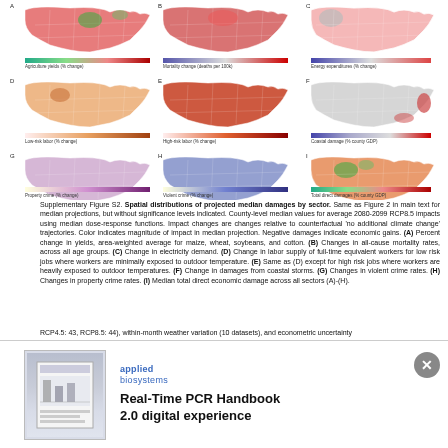[Figure (map): Nine US county-level choropleth maps (A through I) showing spatial distributions of projected median damages by sector: (A) Agriculture yields % change, (B) Mortality change (deaths per 100k), (C) Energy expenditures % change, (D) Low-risk labor % change, (E) High-risk labor % change, (F) Coastal damage % county GDP, (G) Property crime % change, (H) Violent crime % change, (I) Total direct damages % county GDP. Maps use diverging color scales from green/blue to red/orange.]
Supplementary Figure S2. Spatial distributions of projected median damages by sector. Same as Figure 2 in main text for median projections, but without significance levels indicated. County-level median values for average 2080-2099 RCP8.5 impacts using median dose-response functions. Impact changes are changes relative to counterfactual 'no additional climate change' trajectories. Color indicates magnitude of impact in median projection. Negative damages indicate economic gains. (A) Percent change in yields, area-weighted average for maize, wheat, soybeans, and cotton. (B) Changes in all-cause mortality rates, across all age groups. (C) Change in electricity demand. (D) Change in labor supply of full-time equivalent workers for low risk jobs where workers are minimally exposed to outdoor temperature. (E) Same as (D) except for high risk jobs where workers are heavily exposed to outdoor temperatures. (F) Change in damages from coastal storms. (G) Changes in violent crime rates. (H) Changes in property crime rates. (I) Median total direct economic damage across all sectors (A)-(H).
RCP4.5: 43, RCP8.5: 44), within-month weather variation (10 datasets), and econometric uncertainty